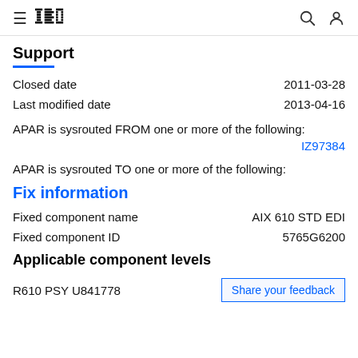IBM Support
Closed date    2011-03-28
Last modified date    2013-04-16
APAR is sysrouted FROM one or more of the following:
IZ97384
APAR is sysrouted TO one or more of the following:
Fix information
Fixed component name    AIX 610 STD EDI
Fixed component ID    5765G6200
Applicable component levels
R610 PSY U841778